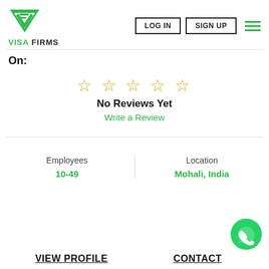[Figure (logo): Visa Firms logo: green downward-pointing triangle with 'VF' monogram, and 'VISA FIRMS' text below]
LOG IN
SIGN UP
On:
[Figure (other): Five outlined star rating icons in gold/orange color indicating no rating]
No Reviews Yet
Write a Review
Employees
10-49
Location
Mohali, India
VIEW PROFILE
CONTACT
[Figure (logo): WhatsApp chat bubble icon in green with white phone handset]